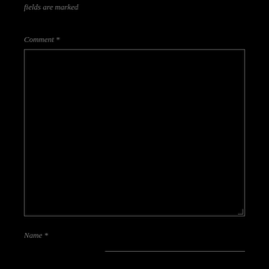fields are marked
Comment *
[Figure (other): Large empty comment text area input box with resize handle at bottom right]
Name *